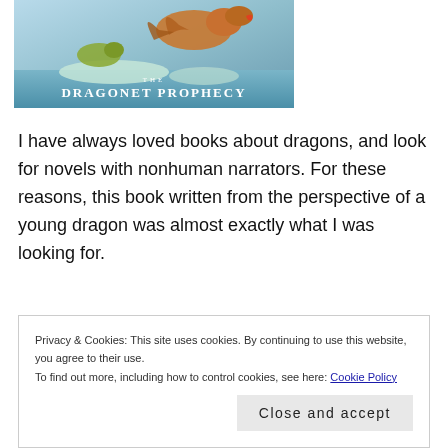[Figure (illustration): Book cover of 'The Dragonet Prophecy' showing dragons over water with colorful fantasy art]
I have always loved books about dragons, and look for novels with nonhuman narrators. For these reasons, this book written from the perspective of a young dragon was almost exactly what I was looking for.
If I had read this book while I was part of the intended age group it would probably have become one of my favorite
Privacy & Cookies: This site uses cookies. By continuing to use this website, you agree to their use.
To find out more, including how to control cookies, see here: Cookie Policy
Close and accept